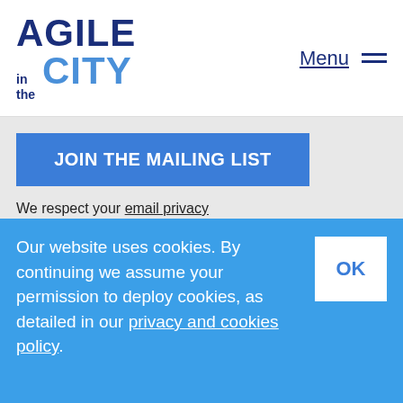AGILE in the CITY | Menu
JOIN THE MAILING LIST
We respect your email privacy
Contact
_agilecitylon
london@agileinthecity.net
Our website uses cookies. By continuing we assume your permission to deploy cookies, as detailed in our privacy and cookies policy.